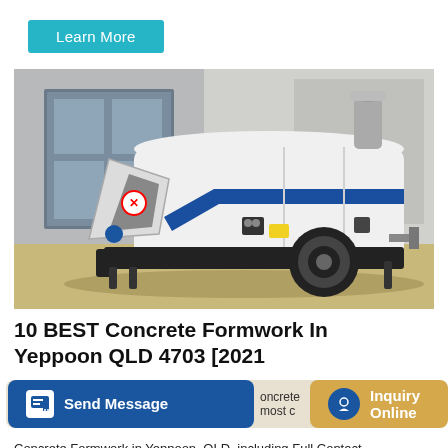Learn More
[Figure (photo): A white and blue concrete pump machine on a trailer, parked on a concrete surface in front of a building with large doors. The machine has a blue stripe, a hopper on one side, and a cylindrical exhaust on top.]
10 BEST Concrete Formwork In Yeppoon QLD 4703 [2021
Send Message
oncrete most c
Inquiry Online
Concrete Formwork in Yeppoon, QLD, including Full Contact